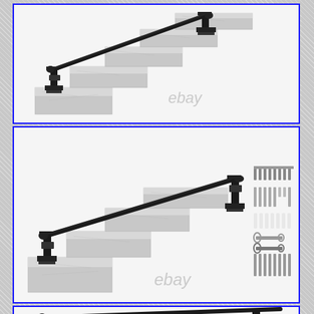[Figure (photo): Top panel: Black metal stair handrail with two vertical post supports installed on grey marble/concrete steps, shown from the side. eBay watermark visible.]
[Figure (photo): Middle panel: Black metal stair handrail with two vertical post supports on grey marble/concrete steps, with hardware kit (bolts, anchors, wrenches) displayed to the right. eBay watermark visible.]
[Figure (photo): Bottom panel (partial): Black metal stair handrail with post support and hardware kit, partially visible at bottom of page.]